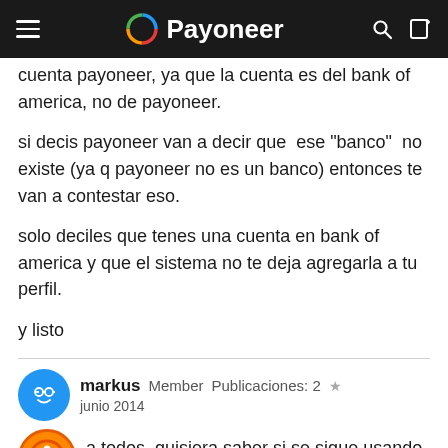Payoneer
cuenta payoneer, ya que la cuenta es del bank of america, no de payoneer.
si decis payoneer van a decir que ese "banco" no existe (ya q payoneer no es un banco) entonces te van a contestar eso.
solo deciles que tenes una cuenta en bank of america y que el sistema no te deja agregarla a tu perfil.
y listo
markus  Member  Publicaciones: 2  ★
junio 2014
a todos, quisiera saber si se sigue usando ir a Uruguay a extraer dolares por ventanilla. Pienso ir a